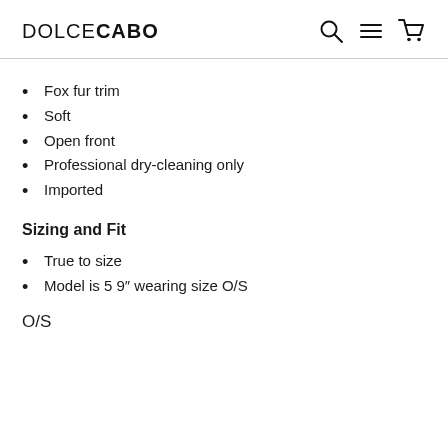DOLCECABO
Fox fur trim
Soft
Open front
Professional dry-cleaning only
Imported
Sizing and Fit
True to size
Model is 5 9″ wearing size O/S
O/S